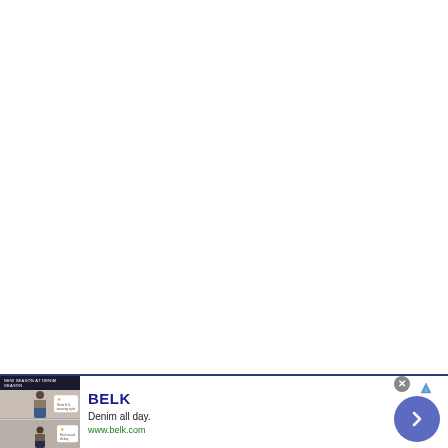[Figure (other): Large white blank area taking up most of the page, representing empty webpage content]
[Figure (screenshot): Advertisement banner for BELK department store. Shows product images of a woman in denim clothing on left, brand name BELK in bold blue, tagline 'Denim all day.' and website www.belk.com. Has a close button (X) at top right, an AdChoices triangle icon, and a blue circular navigation arrow button on the right side.]